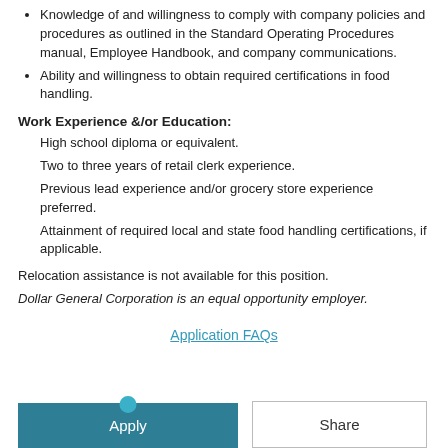Knowledge of and willingness to comply with company policies and procedures as outlined in the Standard Operating Procedures manual, Employee Handbook, and company communications.
Ability and willingness to obtain required certifications in food handling.
Work Experience &/or Education:
High school diploma or equivalent.
Two to three years of retail clerk experience.
Previous lead experience and/or grocery store experience preferred.
Attainment of required local and state food handling certifications, if applicable.
Relocation assistance is not available for this position.
Dollar General Corporation is an equal opportunity employer.
Application FAQs
Apply
Share